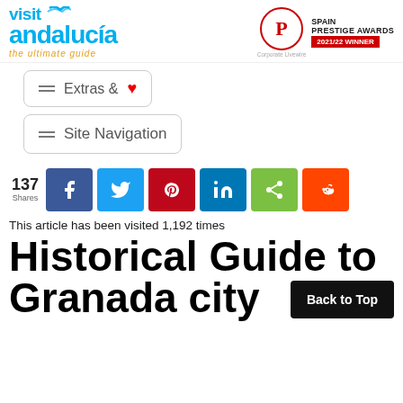[Figure (logo): Visit Andalucia logo with cyan text and orange tagline 'the ultimate guide', alongside Corporate Livewire Spain Prestige Awards 2021/22 Winner badge]
Extras & ♥
Site Navigation
137 Shares — Facebook, Twitter, Pinterest, LinkedIn, ShareThis, Reddit social share buttons
This article has been visited 1,192 times
Historical Guide to Granada city
Back to Top